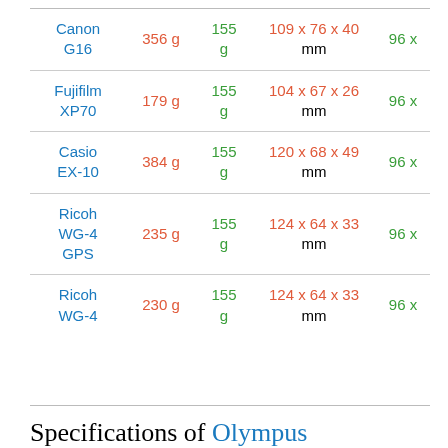| Name | Weight | Battery | Dimensions | Zoom |
| --- | --- | --- | --- | --- |
| Canon G16 | 356 g | 155 g | 109 x 76 x 40 mm | 96 x |
| Fujifilm XP70 | 179 g | 155 g | 104 x 67 x 26 mm | 96 x |
| Casio EX-10 | 384 g | 155 g | 120 x 68 x 49 mm | 96 x |
| Ricoh WG-4 GPS | 235 g | 155 g | 124 x 64 x 33 mm | 96 x |
| Ricoh WG-4 | 230 g | 155 g | 124 x 64 x 33 mm | 96 x |
Specifications of Olympus